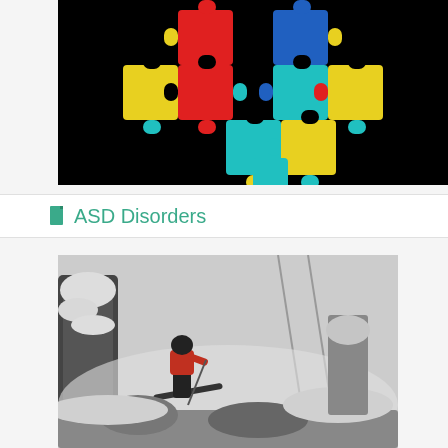[Figure (illustration): Autism awareness puzzle piece heart logo on black background — colorful interlocking puzzle pieces in red, blue, yellow, and cyan forming a heart/arrow shape pointing downward]
ASD Disorders
[Figure (photo): Black and white photograph of a skier in a red jacket skiing down a steep snowy slope, with snow-covered trees on the left side and ski poles visible]